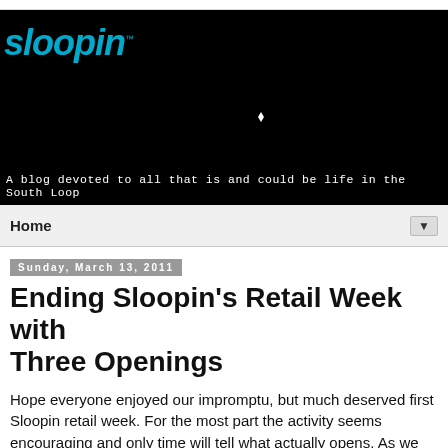[Figure (illustration): Sloopin blog banner with city skyline silhouette on black background, logo in cyan italic text top-left, tagline below skyline]
Home ▼
Sunday, March 13, 2011
Ending Sloopin's Retail Week with Three Openings
Hope everyone enjoyed our impromptu, but much deserved first Sloopin retail week. For the most part the activity seems encouraging and only time will tell what actually opens. As we know, just because it's announced in the Tribune, or on a sign in the window, or building permits, they don't it...